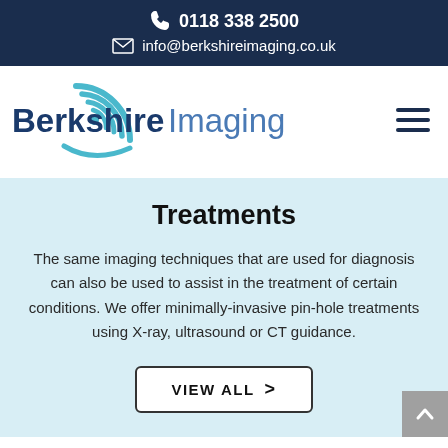0118 338 2500  info@berkshireimaging.co.uk
[Figure (logo): Berkshire Imaging logo with teal concentric arc icon and blue text reading 'Berkshire Imaging']
Treatments
The same imaging techniques that are used for diagnosis can also be used to assist in the treatment of certain conditions. We offer minimally-invasive pin-hole treatments using X-ray, ultrasound or CT guidance.
VIEW ALL >